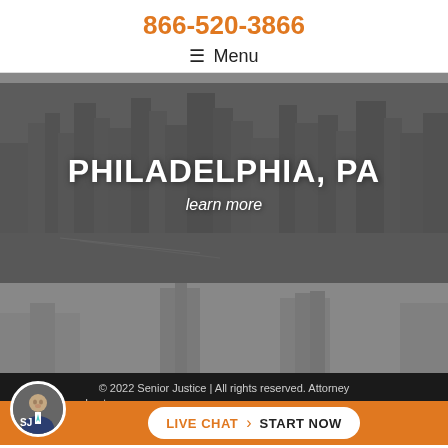866-520-3866
☰ Menu
[Figure (photo): Grayscale Philadelphia city skyline at night with overlay text 'PHILADELPHIA, PA' and 'learn more']
PHILADELPHIA, PA
learn more
[Figure (photo): Grayscale city buildings photo, partially visible]
© 2022 Senior Justice | All rights reserved. Attorney advertising. Prior results do not guarantee a similar outcome.
LIVE CHAT › START NOW